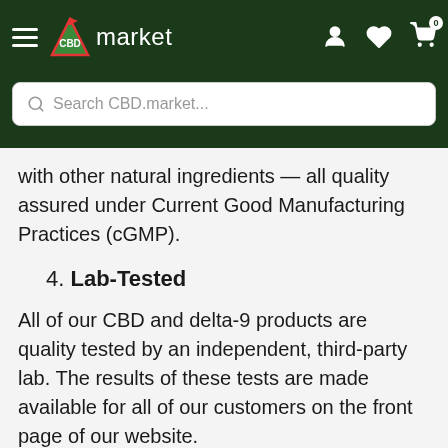[Figure (screenshot): CBD.market website navigation bar with hamburger menu, CBD market logo, search bar, and icons for account, wishlist, and cart (showing 0 items)]
with other natural ingredients — all quality assured under Current Good Manufacturing Practices (cGMP).
4. Lab-Tested
All of our CBD and delta-9 products are quality tested by an independent, third-party lab. The results of these tests are made available for all of our customers on the front page of our website.
Types of CBD